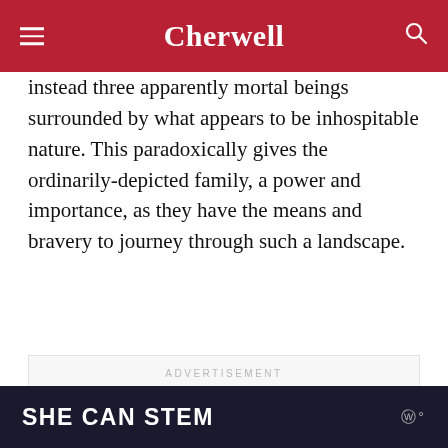Cherwell
instead three apparently mortal beings surrounded by what appears to be inhospitable nature. This paradoxically gives the ordinarily-depicted family, a power and importance, as they have the means and bravery to journey through such a landscape.
[Figure (other): Advertisement placeholder box with label ADVERTISEMENT]
[Figure (other): Bottom banner advertisement: SHE CAN STEM with logo on dark background]